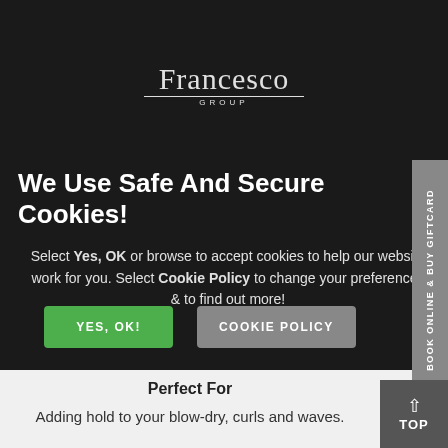[Figure (logo): Francesco Group logo — serif wordmark 'Francesco' with 'GROUP' in small caps underneath, separated by a horizontal line]
We Use Safe And Secure Cookies!
Select Yes, OK or browse to accept cookies to help our website work for you. Select Cookie Policy to change your preferences & to find out more!
YES, OK!    COOKIE POLICY
Perfect For
Adding hold to your blow-dry, curls and waves.